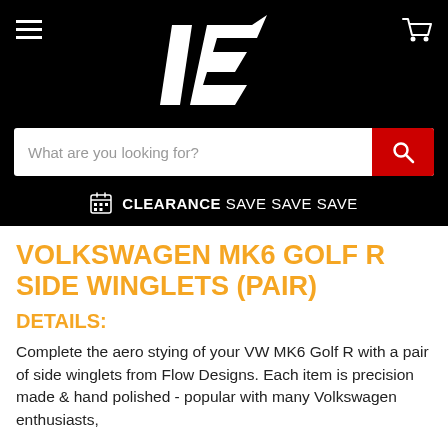[Figure (logo): White stylized HE logo on black background]
What are you looking for?
CLEARANCE SAVE SAVE SAVE
VOLKSWAGEN MK6 GOLF R SIDE WINGLETS (PAIR)
DETAILS:
Complete the aero stying of your VW MK6 Golf R with a pair of side winglets from Flow Designs. Each item is precision made & hand polished - popular with many Volkswagen enthusiasts, an excellent upgrade for their beloved vehicles.